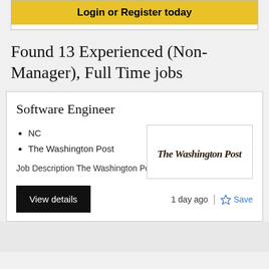[Figure (other): Login or Register today button - yellow background with bold black text]
Found 13 Experienced (Non-Manager), Full Time jobs
Software Engineer
NC
The Washington Post
Job Description The Washington Post is hiring a...
[Figure (logo): The Washington Post logo in blackletter/gothic font style]
View details
1 day ago | ☆ Save